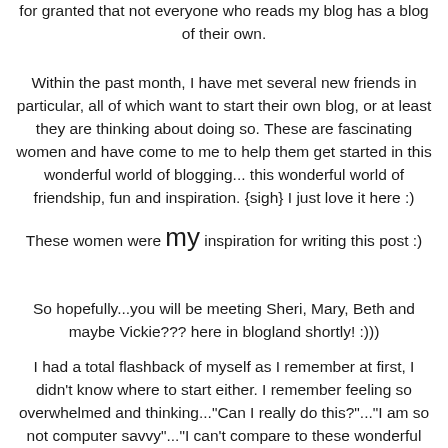for granted that not everyone who reads my blog has a blog of their own.
Within the past month, I have met several new friends in particular, all of which want to start their own blog, or at least they are thinking about doing so. These are fascinating women and have come to me to help them get started in this wonderful world of blogging... this wonderful world of friendship, fun and inspiration. {sigh} I just love it here :)
These women were MY inspiration for writing this post :)
So hopefully...you will be meeting Sheri, Mary, Beth and maybe Vickie??? here in blogland shortly!  :)))
I had a total flashback of myself as I remember at first, I didn't know where to start either. I remember feeling so overwhelmed and thinking..."Can I really do this?"..."I am so not computer savvy"..."I can't compare to these wonderful people out here"..."Will anybody ever read me?"..."I don't know an 'html' from a LOL!"...and believe me, I thought about